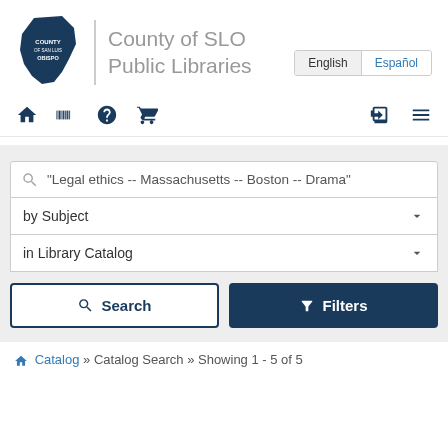[Figure (logo): County of San Luis Obispo shield/state logo in dark navy blue with text COUNTY OF SAN LUIS OBISPO]
County of SLO Public Libraries
English | Español
[Figure (infographic): Navigation icons: home, barcode, question mark, shopping cart (left); login arrow, hamburger menu (right)]
"Legal ethics -- Massachusetts -- Boston -- Drama"
by Subject
in Library Catalog
Search   Filters
Catalog » Catalog Search » Showing 1 - 5 of 5